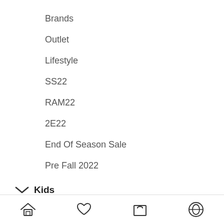Brands
Outlet
Lifestyle
SS22
RAM22
2E22
End Of Season Sale
Pre Fall 2022
Kids
Girls
Shop by Occasion
SHOES & ACCESSORIES
Home | Wishlist | Cart | Account